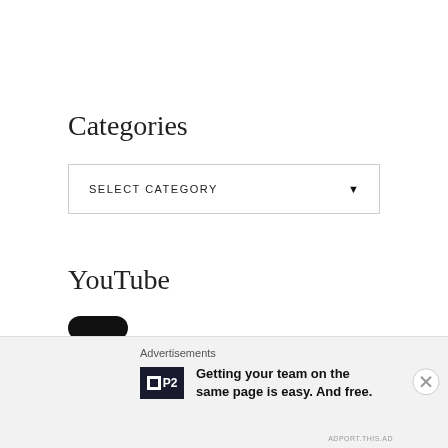Categories
SELECT CATEGORY
YouTube
Advertisements
Getting your team on the same page is easy. And free.